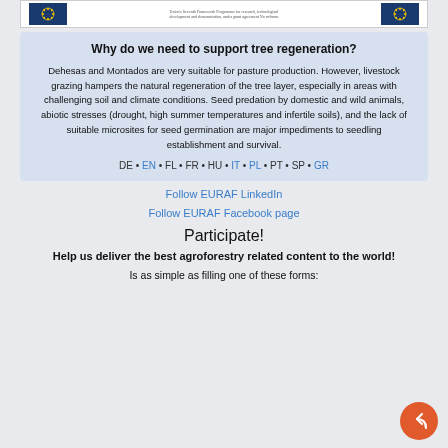[Figure (logo): Top banner with two EU/project logos and small text in center]
Why do we need to support tree regeneration?
Dehesas and Montados are very suitable for pasture production. However, livestock grazing hampers the natural regeneration of the tree layer, especially in areas with challenging soil and climate conditions. Seed predation by domestic and wild animals, abiotic stresses (drought, high summer temperatures and infertile soils), and the lack of suitable microsites for seed germination are major impediments to seedling establishment and survival.
DE • EN • FL • FR • HU • IT • PL • PT • SP • GR
Follow EURAF LinkedIn
Follow EURAF Facebook page
Participate!
Help us deliver the best agroforestry related content to the world!
Is as simple as filling one of these forms: